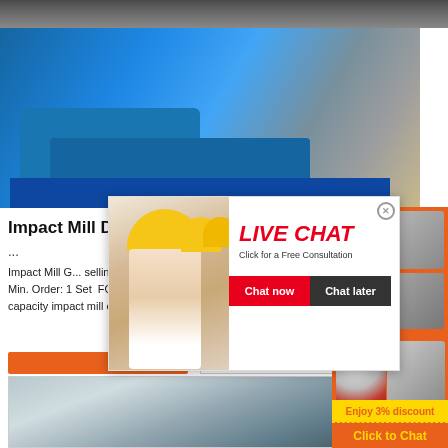[Figure (photo): Partial dark industrial/machinery strip at very top of page]
[Figure (photo): Large photo of blue industrial impact mill/crusher equipment outdoors on construction site under blue sky]
Impact Mill D...
...
Impact Mill G... selling High eff... Min. Order: 1 Set FOB Price: US $2581-58694 / S... capacity impact mill or crusher
[Figure (photo): Live Chat popup overlay showing workers in yellow hard hats with red LIVE CHAT text, Chat now and Chat later buttons]
[Figure (photo): Right sidebar orange panel showing various crusher/mill machine photos, Enjoy 3% discount yellow bar, Click to Chat gold text, Enquiry button]
[Figure (photo): Second product image showing industrial flat screen/sieve equipment]